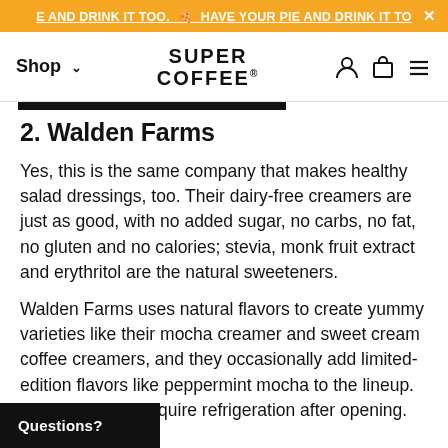HAVE YOUR PIE AND DRINK IT TOO.
SUPER COFFEE
2. Walden Farms
Yes, this is the same company that makes healthy salad dressings, too. Their dairy-free creamers are just as good, with no added sugar, no carbs, no fat, no gluten and no calories; stevia, monk fruit extract and erythritol are the natural sweeteners.
Walden Farms uses natural flavors to create yummy varieties like their mocha creamer and sweet cream coffee creamers, and they occasionally add limited-edition flavors like peppermint mocha to the lineup. Their creamers require refrigeration after opening.
Questions?